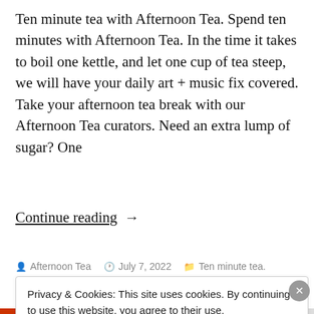Ten minute tea with Afternoon Tea. Spend ten minutes with Afternoon Tea. In the time it takes to boil one kettle, and let one cup of tea steep, we will have your daily art + music fix covered. Take your afternoon tea break with our Afternoon Tea curators. Need an extra lump of sugar? One
Continue reading  →
Afternoon Tea  July 7, 2022  Ten minute tea.
Privacy & Cookies: This site uses cookies. By continuing to use this website, you agree to their use.
To find out more, including how to control cookies, see here: Cookie Policy
Close and accept